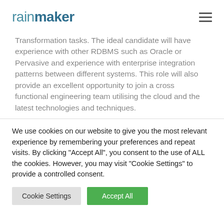rainmaker
Transformation tasks. The ideal candidate will have experience with other RDBMS such as Oracle or Pervasive and experience with enterprise integration patterns between different systems. This role will also provide an excellent opportunity to join a cross functional engineering team utilising the cloud and the latest technologies and techniques.
We use cookies on our website to give you the most relevant experience by remembering your preferences and repeat visits. By clicking "Accept All", you consent to the use of ALL the cookies. However, you may visit "Cookie Settings" to provide a controlled consent.